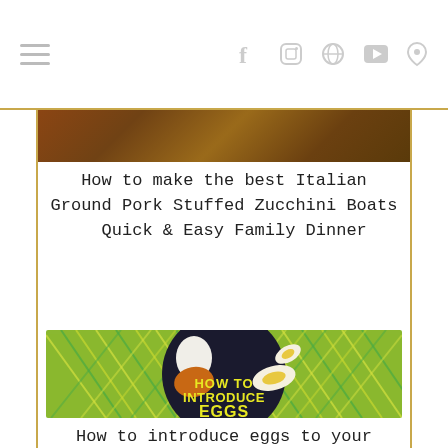Navigation bar with hamburger menu and social icons: f (Facebook), Instagram, Pinterest, YouTube, RSS
[Figure (photo): Cropped food photo at top of article card]
How to make the best Italian Ground Pork Stuffed Zucchini Boats   Quick & Easy Family Dinner
[Figure (photo): Photo of eggs on a dark circular plate surrounded by colorful straw, with text overlay: HOW TO INTRODUCE EGGS to your baby]
How to introduce eggs to your